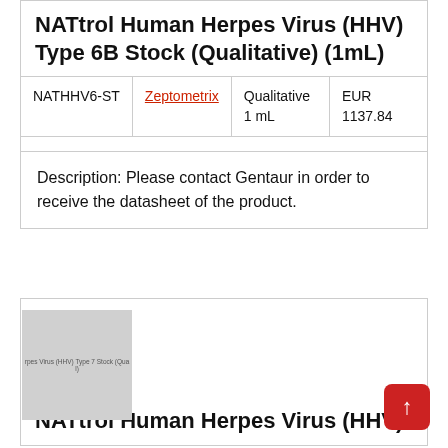NATtrol Human Herpes Virus (HHV) Type 6B Stock (Qualitative) (1mL)
|  |  |  |  |
| --- | --- | --- | --- |
| NATHHV6-ST | Zeptometrix | Qualitative
1 mL | EUR
1137.84 |
|  |  |  |  |
Description: Please contact Gentaur in order to receive the datasheet of the product.
[Figure (photo): Thumbnail image placeholder for NATtrol Human Herpes Virus (HHV) Type 7 Stock (Qualitative) product]
NATtrol Human Herpes Virus (HHV)